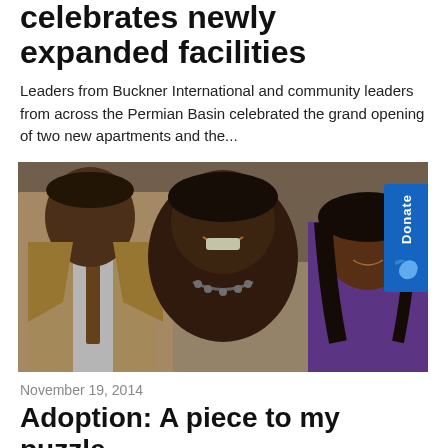celebrates newly expanded facilities
Leaders from Buckner International and community leaders from across the Permian Basin celebrated the grand opening of two new apartments and the...
[Figure (photo): Three people posing together for a photo: a man in a tan suit and tie on the left, a woman in a dark outfit with a necklace in the center smiling broadly, and a younger woman in a purple outfit on the right. A 'Donate' tab button appears on the right edge of the photo.]
November 19, 2014
Adoption: A piece to my puzzle
For as far back as I can remember, I have seen myself as female,